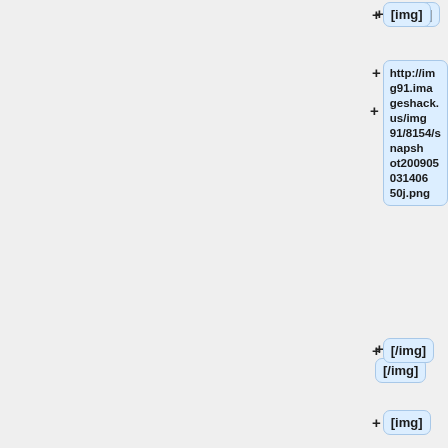+ [img]
+ http://img91.imageshack.us/img91/8154/snapshot20090503140650j.png
+ [/img]
+ [img]
+ http://img397.imageshack.us/img397/945/snapshot20090503140744.png
+ [/img]
+ [img]
+ http://img212.imageshack.us/img212/3776/snap...